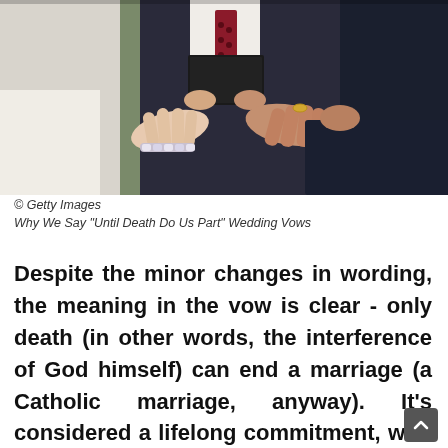[Figure (photo): Close-up of a wedding ceremony with hands exchanging rings. An officiant holds a book in the background. The bride wears white and a crystal bracelet; the groom wears a dark suit.]
© Getty Images
Why We Say "Until Death Do Us Part" Wedding Vows
Despite the minor changes in wording, the meaning in the vow is clear - only death (in other words, the interference of God himself) can end a marriage (a Catholic marriage, anyway). It's considered a lifelong commitment, with the marriage pact only at